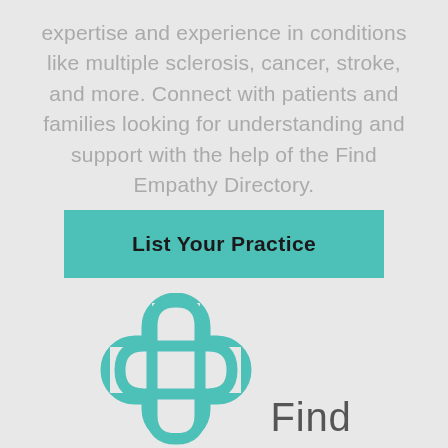expertise and experience in conditions like multiple sclerosis, cancer, stroke, and more. Connect with patients and families looking for understanding and support with the help of the Find Empathy Directory.
List Your Practice
[Figure (logo): Find Empathy logo — teal cross/plus shape formed by two overlapping rounded rectangles, with the word 'Find' in grey text to the right]